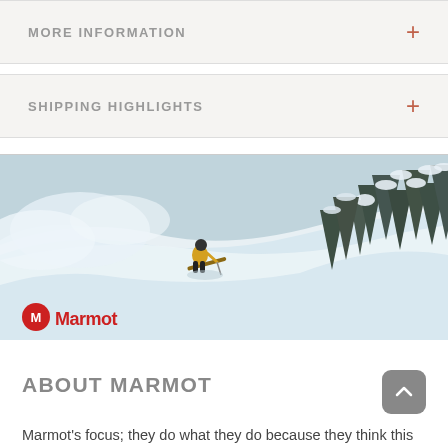MORE INFORMATION
SHIPPING HIGHLIGHTS
[Figure (photo): A skier in a yellow jacket skiing down a steep snow-covered slope surrounded by snow-laden pine trees. The Marmot logo (red circle with white M icon and 'Marmot' wordmark) is overlaid in the lower left.]
ABOUT MARMOT
Marmot's focus; they do what they do because they think this desire to get out and be wild is in everybody. We go outside because with the best gear, our missions are bolder, our attitude more confident and our experiences richer.